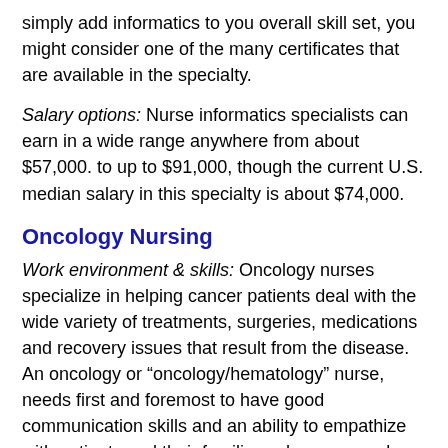simply add informatics to you overall skill set, you might consider one of the many certificates that are available in the specialty.
Salary options: Nurse informatics specialists can earn in a wide range anywhere from about $57,000. to up to $91,000, though the current U.S. median salary in this specialty is about $74,000.
Oncology Nursing
Work environment & skills: Oncology nurses specialize in helping cancer patients deal with the wide variety of treatments, surgeries, medications and recovery issues that result from the disease. An oncology or “oncology/hematology” nurse, needs first and foremost to have good communication skills and an ability to empathize with patients and their families, who come under tremendous stress when there is a diagnosis of cancer. Pediatric oncology is a large area of practice